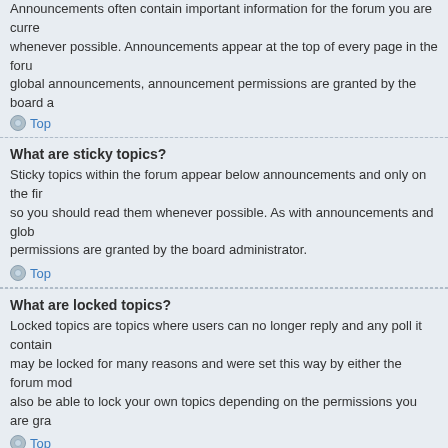Announcements often contain important information for the forum you are currently reading and you should read them whenever possible. Announcements appear at the top of every page in the forum to which they are posted. As with global announcements, announcement permissions are granted by the board administrator.
Top
What are sticky topics?
Sticky topics within the forum appear below announcements and only on the first page. They are often quite important so you should read them whenever possible. As with announcements and global announcements, sticky topic permissions are granted by the board administrator.
Top
What are locked topics?
Locked topics are topics where users can no longer reply and any poll it contains was automatically ended. Topics may be locked for many reasons and were set this way by either the forum moderator or board administrator. You may also be able to lock your own topics depending on the permissions you are granted by the board administrator.
Top
What are topic icons?
Topic icons are author chosen images associated with posts to indicate their content. The ability to use topic icons depends on the permissions set by the board administrator.
Top
User Levels and Groups
What are Administrators?